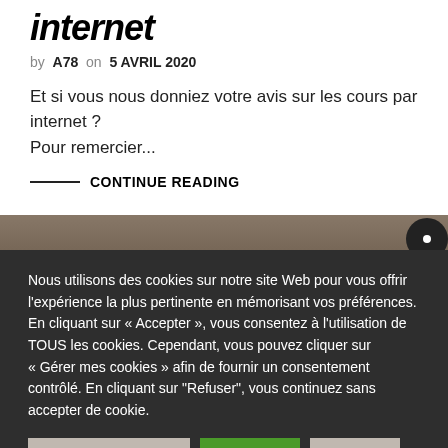internet
by A78  on  5 AVRIL 2020
Et si vous nous donniez votre avis sur les cours par internet ? Pour remercier...
CONTINUE READING
[Figure (photo): Partial photo of bookshelves visible behind the cookie overlay]
Nous utilisons des cookies sur notre site Web pour vous offrir l'expérience la plus pertinente en mémorisant vos préférences. En cliquant sur « Accepter », vous consentez à l'utilisation de TOUS les cookies. Cependant, vous pouvez cliquer sur « Gérer mes cookies » afin de fournir un consentement contrôlé. En cliquant sur "Refuser", vous continuez sans accepter de cookie.
Gérer mes cookies   Accepter   Refuser